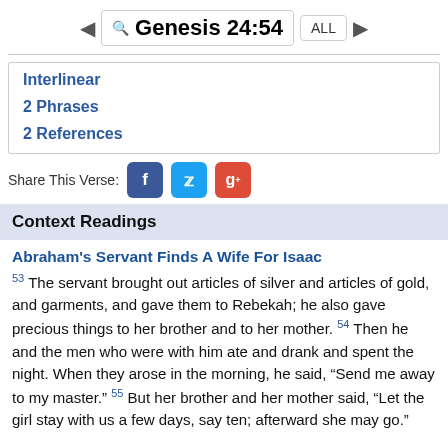Genesis 24:54
Interlinear
2 Phrases
2 References
Share This Verse:
Context Readings
Abraham's Servant Finds A Wife For Isaac
53 The servant brought out articles of silver and articles of gold, and garments, and gave them to Rebekah; he also gave precious things to her brother and to her mother. 54 Then he and the men who were with him ate and drank and spent the night. When they arose in the morning, he said, “Send me away to my master.” 55 But her brother and her mother said, “Let the girl stay with us a few days, say ten; afterward she may go.”